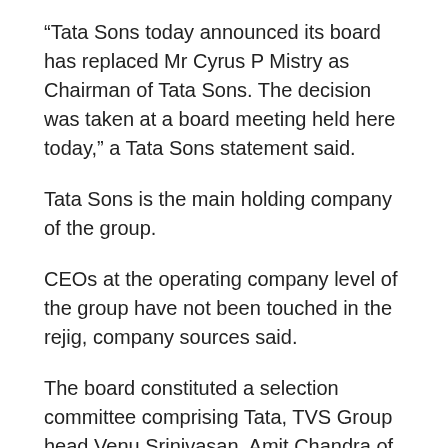“Tata Sons today announced its board has replaced Mr Cyrus P Mistry as Chairman of Tata Sons. The decision was taken at a board meeting held here today,” a Tata Sons statement said.
Tata Sons is the main holding company of the group.
CEOs at the operating company level of the group have not been touched in the rejig, company sources said.
The board constituted a selection committee comprising Tata, TVS Group head Venu Srinivasan, Amit Chandra of Bain Capital, former diplomat Ronen Sen and Lord Kumar Bhattacharya. All of them, except Bhattacharya, are on the board of Tata Sons.
“The committee has been mandated to complete the selection process in four months,” it added.